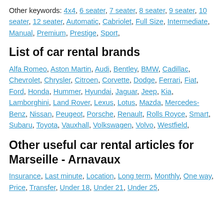Other keywords: 4x4, 6 seater, 7 seater, 8 seater, 9 seater, 10 seater, 12 seater, Automatic, Cabriolet, Full Size, Intermediate, Manual, Premium, Prestige, Sport,
List of car rental brands
Alfa Romeo, Aston Martin, Audi, Bentley, BMW, Cadillac, Chevrolet, Chrysler, Citroen, Corvette, Dodge, Ferrari, Fiat, Ford, Honda, Hummer, Hyundai, Jaguar, Jeep, Kia, Lamborghini, Land Rover, Lexus, Lotus, Mazda, Mercedes-Benz, Nissan, Peugeot, Porsche, Renault, Rolls Royce, Smart, Subaru, Toyota, Vauxhall, Volkswagen, Volvo, Westfield,
Other useful car rental articles for Marseille - Arnavaux
Insurance, Last minute, Location, Long term, Monthly, One way, Price, Transfer, Under 18, Under 21, Under 25,